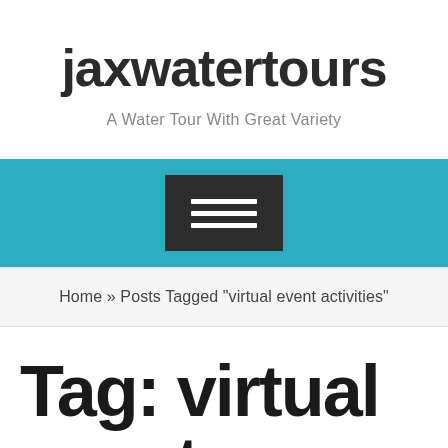jaxwatertours
A Water Tour With Great Variety
[Figure (other): Navigation bar with teal/cyan background and a dark hamburger menu button with three white horizontal lines]
Home » Posts Tagged "virtual event activities"
Tag: virtual event